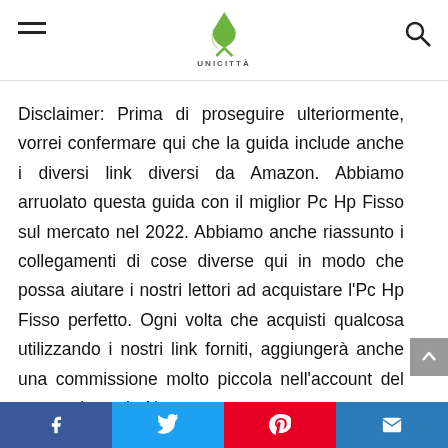UNICITTÀ
Disclaimer: Prima di proseguire ulteriormente, vorrei confermare qui che la guida include anche i diversi link diversi da Amazon. Abbiamo arruolato questa guida con il miglior Pc Hp Fisso sul mercato nel 2022. Abbiamo anche riassunto i collegamenti di cose diverse qui in modo che possa aiutare i nostri lettori ad acquistare l'Pc Hp Fisso perfetto. Ogni volta che acquisti qualcosa utilizzando i nostri link forniti, aggiungerà anche una commissione molto piccola nell'account del nostro sito web. Non
Facebook | Twitter | Pinterest | Email